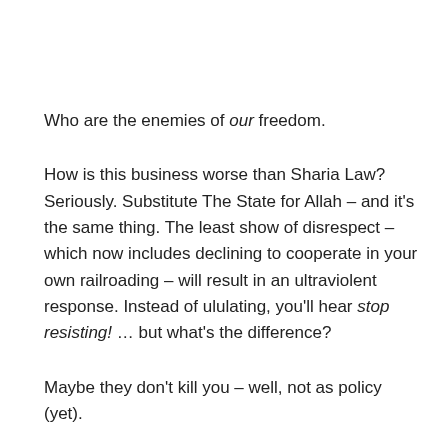Who are the enemies of our freedom.
How is this business worse than Sharia Law? Seriously. Substitute The State for Allah – and it's the same thing. The least show of disrespect – which now includes declining to cooperate in your own railroading – will result in an ultraviolent response. Instead of ululating, you'll hear stop resisting! … but what's the difference?
Maybe they don't kill you – well, not as policy (yet).